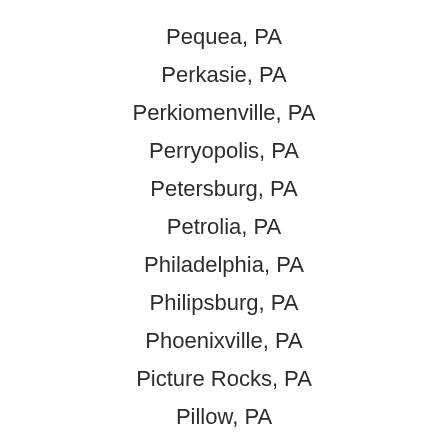Pequea, PA
Perkasie, PA
Perkiomenville, PA
Perryopolis, PA
Petersburg, PA
Petrolia, PA
Philadelphia, PA
Philipsburg, PA
Phoenixville, PA
Picture Rocks, PA
Pillow, PA